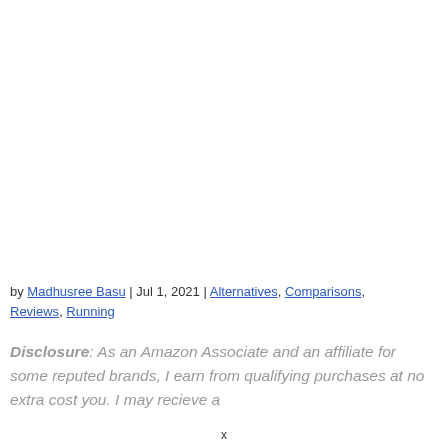by Madhusree Basu | Jul 1, 2021 | Alternatives, Comparisons, Reviews, Running
Disclosure: As an Amazon Associate and an affiliate for some reputed brands, I earn from qualifying purchases at no extra cost you. I may recieve a
x